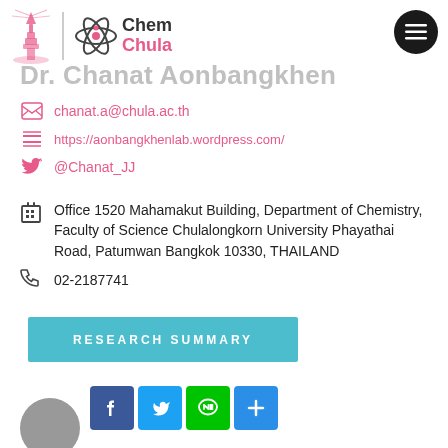[Figure (logo): Chulalongkorn University and Chem Chula logos with atom icon]
Dr. Chanat Aonbangkhen
chanat.a@chula.ac.th
https://aonbangkhenlab.wordpress.com/
@Chanat_JJ
Office 1520 Mahamakut Building, Department of Chemistry, Faculty of Science Chulalongkorn University Phayathai Road, Patumwan Bangkok 10330, THAILAND
02-2187741
RESEARCH SUMMARY
[Figure (infographic): Social sharing buttons: Facebook, Twitter, Line, More]